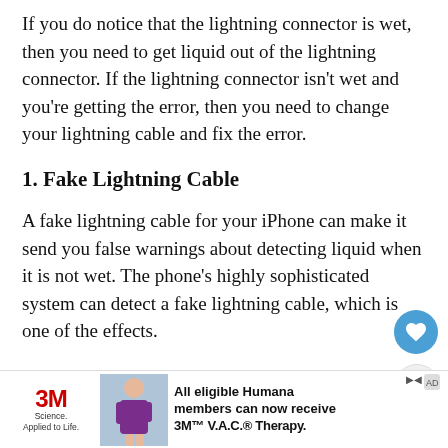If you do notice that the lightning connector is wet, then you need to get liquid out of the lightning connector. If the lightning connector isn't wet and you're getting the error, then you need to change your lightning cable and fix the error.
1. Fake Lightning Cable
A fake lightning cable for your iPhone can make it send you false warnings about detecting liquid when it is not wet. The phone's highly sophisticated system can detect a fake lightning cable, which is one of the effects.
Once this warning is launched, your phone will not be able to until , there is no f
[Figure (screenshot): Advertisement banner at the bottom: 3M Science. Applied to Life. logo with a healthcare worker image and text 'All eligible Humana members can now receive 3M V.A.C. Therapy.' with close and sponsored icons.]